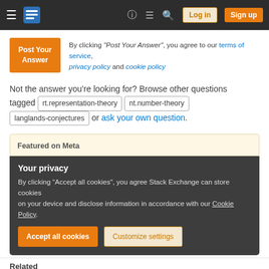Stack Exchange navigation bar with Log in and Sign up buttons
Post Your Answer — By clicking "Post Your Answer", you agree to our terms of service, privacy policy and cookie policy
Not the answer you're looking for? Browse other questions tagged rt.representation-theory nt.number-theory langlands-conjectures or ask your own question.
Featured on Meta
Your privacy
By clicking "Accept all cookies", you agree Stack Exchange can store cookies on your device and disclose information in accordance with our Cookie Policy.
Accept all cookies  Customize settings
Related